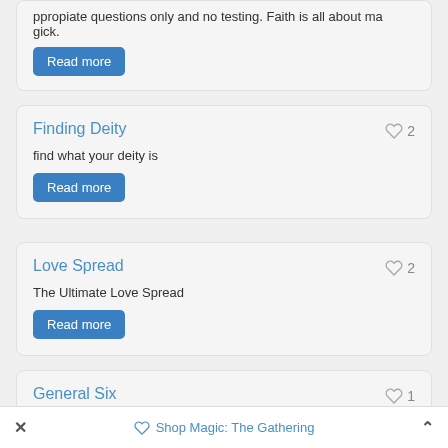ppropiate questions only and no testing. Faith is all about magic.
Read more
Finding Deity
find what your deity is
Read more
Love Spread
The Ultimate Love Spread
Read more
General Six
Shop Magic: The Gathering